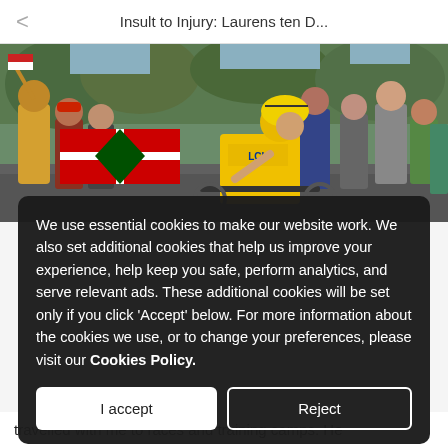Insult to Injury: Laurens ten D...
[Figure (photo): Cycling race photo showing a cyclist in yellow jersey (Tour de France leader) among spectators waving Basque flags, crowd cheering around him]
We use essential cookies to make our website work. We also set additional cookies that help us improve your experience, help keep you safe, perform analytics, and serve relevant ads. These additional cookies will be set only if you click 'Accept' below. For more information about the cookies we use, or to change your preferences, please visit our Cookies Policy.
I accept
Reject
travelled with me to races and training camps. He